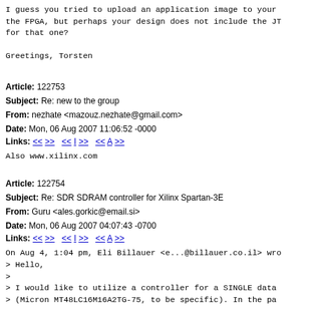I guess you tried to upload an application image to your
the FPGA, but perhaps your design does not include the JT
for that one?
Greetings, Torsten
Article: 122753
Subject: Re: new to the group
From: nezhate <mazouz.nezhate@gmail.com>
Date: Mon, 06 Aug 2007 11:06:52 -0000
Links: << >>   << I >>   << A >>
Also www.xilinx.com
Article: 122754
Subject: Re: SDR SDRAM controller for Xilinx Spartan-3E
From: Guru <ales.gorkic@email.si>
Date: Mon, 06 Aug 2007 04:07:43 -0700
Links: << >>   << I >>   << A >>
On Aug 4, 1:04 pm, Eli Billauer <e...@billauer.co.il> wro
> Hello,
>
> I would like to utilize a controller for a SINGLE data
> (Micron MT48LC16M16A2TG-75, to be specific). In the pa